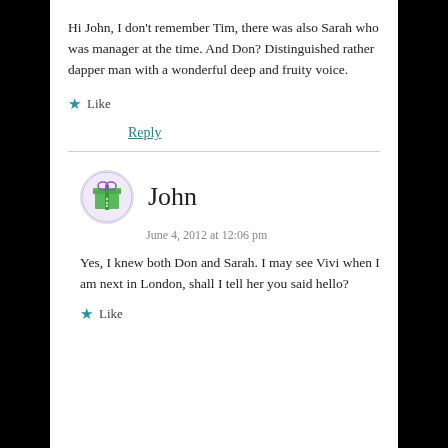Hi John, I don't remember Tim, there was also Sarah who was manager at the time. And Don? Distinguished rather dapper man with a wonderful deep and fruity voice.
★ Like
Reply
John
June 4, 2012 at 12:06 pm
Yes, I knew both Don and Sarah. I may see Vivi when I am next in London, shall I tell her you said hello?
★ Like